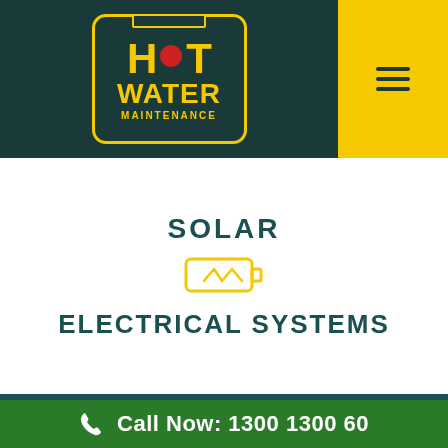[Figure (logo): Hot Water Maintenance logo: yellow text 'HOT' with red circle dot, 'WATER' and 'MAINTENANCE' in yellow on dark teal background with yellow border box. Yellow hamburger menu icon on yellow panel to the right.]
SOLAR
[Figure (illustration): Battery/electrical icon in yellow outline style — a rectangular battery symbol with a lightning/waveform symbol inside]
ELECTRICAL SYSTEMS
Call Now: 1300 1300 60